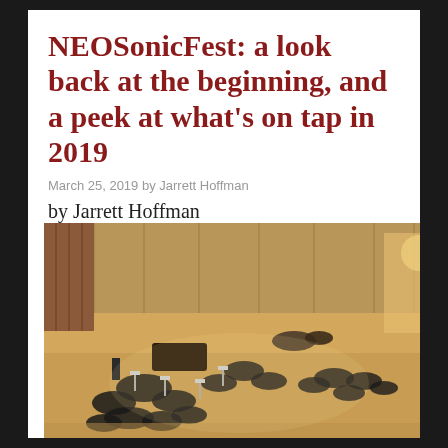NEOSonicFest: a look back at the beginning, and a peek at what's on tap in 2019
March 25, 2019 by Jarrett Hoffman
by Jarrett Hoffman
[Figure (photo): Orchestra musicians performing on a concert hall stage with wooden panels, viewed from an elevated angle. Musicians with string instruments and various other instruments are arranged on the stage floor.]